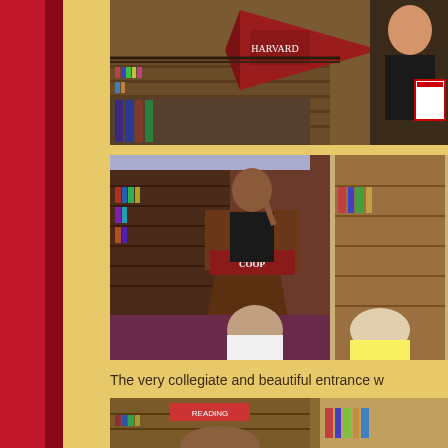[Figure (photo): Interior view of a bookstore from above, showing bookshelves and a red Harvard pennant banner. A woman is visible on the right side holding a book or sign.]
[Figure (photo): A woman speaking at a lectern with a COOP bookstore sign in a bookstore setting. Audience members are seated with their backs to the camera.]
The very collegiate and beautiful entrance w
[Figure (photo): Partial view of bookstore interior showing bookshelves and people.]